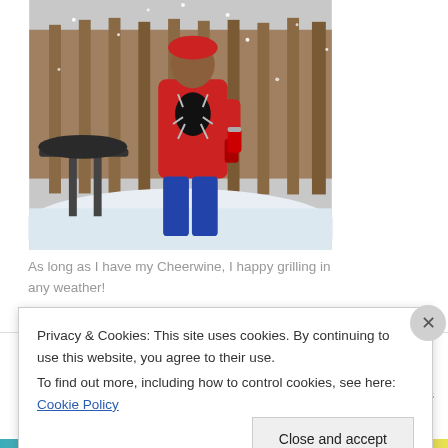[Figure (photo): Person in a red Spider-Man jacket grilling outdoors in the snow, holding a Cheerwine can, with a grill and snowy yard in the background.]
As long as I have my Cheerwine, I happy grilling in any weather!
Follow Blog via Email
Enter your email address to follow this blog and receive notifications of new posts by email.
Privacy & Cookies: This site uses cookies. By continuing to use this website, you agree to their use.
To find out more, including how to control cookies, see here: Cookie Policy